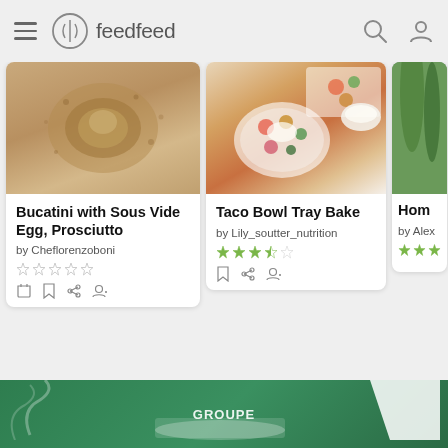[Figure (screenshot): feedfeed app navigation bar with hamburger menu, logo, search and user icons]
[Figure (photo): Overhead shot of Bucatini pasta with sous vide egg and breadcrumbs in a bowl]
Bucatini with Sous Vide Egg, Prosciutto
by Cheflorenzoboni
[Figure (photo): Taco Bowl Tray Bake with roasted vegetables, beans, sour cream in a white bowl]
Taco Bowl Tray Bake
by Lily_soutter_nutrition
[Figure (photo): Partial view of a green vegetable dish, third card cropped]
Hom
by Alex
[Figure (photo): Green banner at bottom with Lactalis group logo]